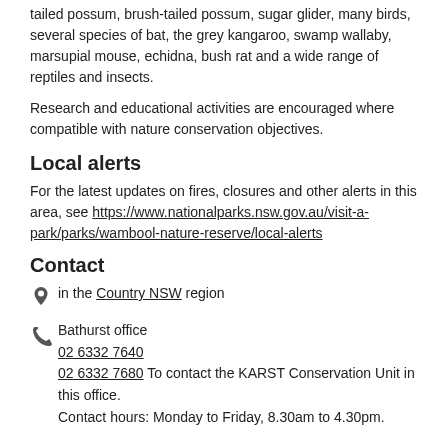tailed possum, brush-tailed possum, sugar glider, many birds, several species of bat, the grey kangaroo, swamp wallaby, marsupial mouse, echidna, bush rat and a wide range of reptiles and insects.
Research and educational activities are encouraged where compatible with nature conservation objectives.
Local alerts
For the latest updates on fires, closures and other alerts in this area, see https://www.nationalparks.nsw.gov.au/visit-a-park/parks/wambool-nature-reserve/local-alerts
Contact
in the Country NSW region
Bathurst office
02 6332 7640
02 6332 7680 To contact the KARST Conservation Unit in this office.
Contact hours: Monday to Friday, 8.30am to 4.30pm.
Level 2, 203-209 Russell Street, Bathurst NSW 2795
Email: npws.centralwest@environment.nsw.gov.au